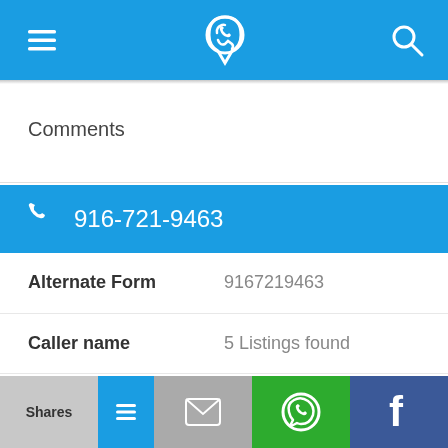[Figure (screenshot): Mobile app top navigation bar with hamburger menu icon on left, phone-locator logo in center, and search icon on right, all on blue background]
Comments
[Figure (infographic): Blue banner showing phone icon and phone number 916-721-9463]
| Field | Value |
| --- | --- |
| Alternate Form | 9167219463 |
| Caller name | 5 Listings found |
| Last User Search | No searches yet |
Comments
[Figure (screenshot): Bottom action bar with Shares button (gray), blue button, email icon (gray), WhatsApp icon (green), and Facebook icon (dark blue)]